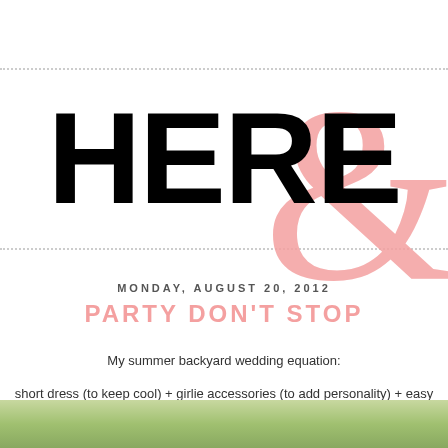HERE &
MONDAY, AUGUST 20, 2012
PARTY DON'T STOP
My summer backyard wedding equation: short dress (to keep cool) + girlie accessories (to add personality) + easy
[Figure (photo): Outdoor photo, greenery/garden scene at the bottom of the page]